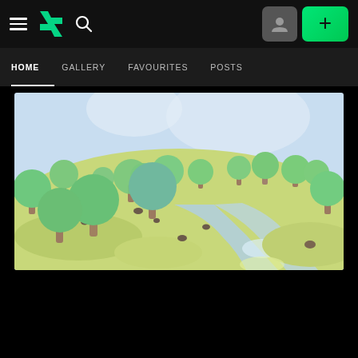DeviantArt navigation bar with hamburger menu, DA logo, search icon, avatar button, and add (+) button
HOME | GALLERY | FAVOURITES | POSTS
[Figure (illustration): 3D rendered low-poly style landscape scene with cartoon green trees, sandy ground, a winding river/lake, small rocks, and a light blue sky with white clouds. Top-down angled perspective.]